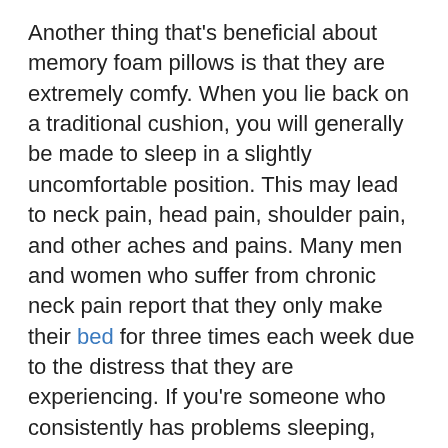Another thing that's beneficial about memory foam pillows is that they are extremely comfy. When you lie back on a traditional cushion, you will generally be made to sleep in a slightly uncomfortable position. This may lead to neck pain, head pain, shoulder pain, and other aches and pains. Many men and women who suffer from chronic neck pain report that they only make their bed for three times each week due to the distress that they are experiencing. If you're someone who consistently has problems sleeping, then purchasing a watertight memory foam pillow should be one of the first purchases.
One last benefit of working with a memory foam...